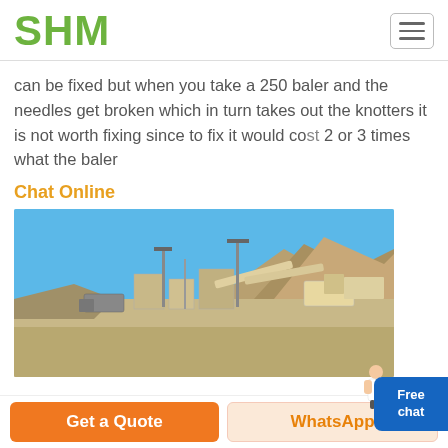SHM
can be fixed but when you take a 250 baler and the needles get broken which in turn takes out the knotters it is not worth fixing since to fix it would cost 2 or 3 times what the baler
Chat Online
[Figure (photo): Outdoor industrial quarry/mining site with heavy machinery, conveyor systems, large floodlight poles, rocky mountain in the background under clear blue sky]
Get a Quote
WhatsApp